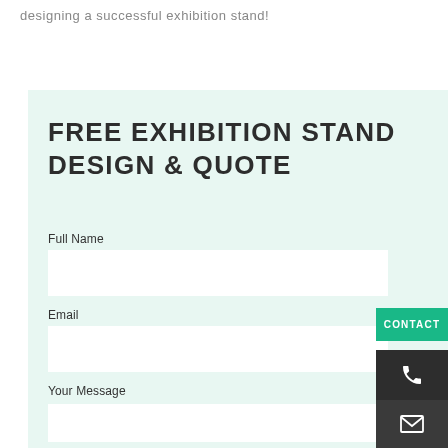designing a successful exhibition stand!
FREE EXHIBITION STAND DESIGN & QUOTE
Full Name
Email
Your Message